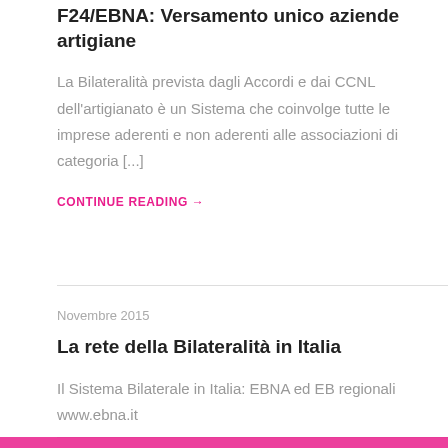F24/EBNA: Versamento unico aziende artigiane
La Bilateralità prevista dagli Accordi e dai CCNL dell'artigianato è un Sistema che coinvolge tutte le imprese aderenti e non aderenti alle associazioni di categoria [...]
CONTINUE READING →
Novembre 2015
La rete della Bilateralità in Italia
Il Sistema Bilaterale in Italia: EBNA ed EB regionali www.ebna.it
CONTINUE READING →